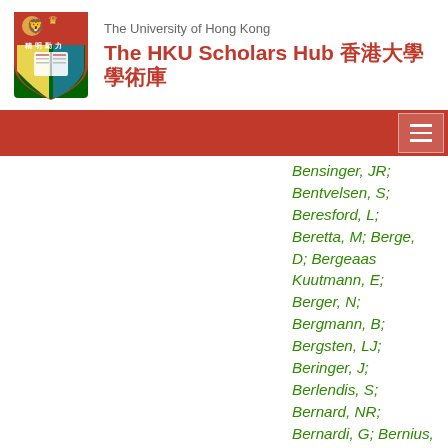The University of Hong Kong — The HKU Scholars Hub 香港大學學術庫
Bensinger, JR; Bentvelsen, S; Beresford, L; Beretta, M; Berge, D; Bergeaas Kuutmann, E; Berger, N; Bergmann, B; Bergsten, LJ; Beringer, J; Berlendis, S; Bernard, NR; Bernardi, G; Bernius, C; Bernlochner, FU; Berry, T; Berta, P; Bertella, C; Bertoli, G; Bertram, IA; Besies, GJ;